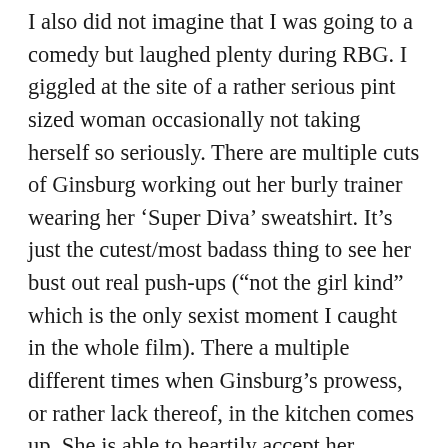I also did not imagine that I was going to a comedy but laughed plenty during RBG. I giggled at the site of a rather serious pint sized woman occasionally not taking herself so seriously. There are multiple cuts of Ginsburg working out her burly trainer wearing her ‘Super Diva’ sweatshirt. It’s just the cutest/most badass thing to see her bust out real push-ups (“not the girl kind” which is the only sexist moment I caught in the whole film). There a multiple different times when Ginsburg’s prowess, or rather lack thereof, in the kitchen comes up. She is able to heartily accept her failings as a cook as others in her family mock her for it. While the sharing of memes and addition of music to video of Ginsburg in relation to her being dubbed the “Notorius RBG” are humorous, the really hysterical moment is when Ginsburg details who she and the Notorius BIG have a lot in common. It should